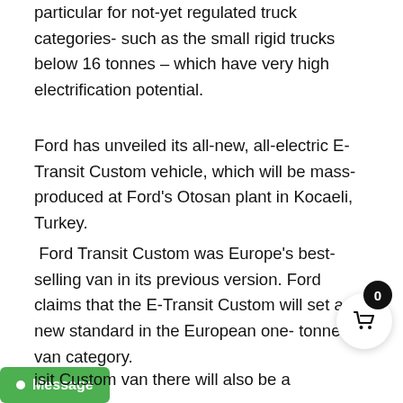particular for not-yet regulated truck categories- such as the small rigid trucks below 16 tonnes - which have very high electrification potential.
Ford has unveiled its all-new, all-electric E-Transit Custom vehicle, which will be mass-produced at Ford's Otosan plant in Kocaeli, Turkey.
Ford Transit Custom was Europe's best-selling van in its previous version. Ford claims that the E-Transit Custom will set a new standard in the European one-tonne van category.
isit Custom van there will also be a